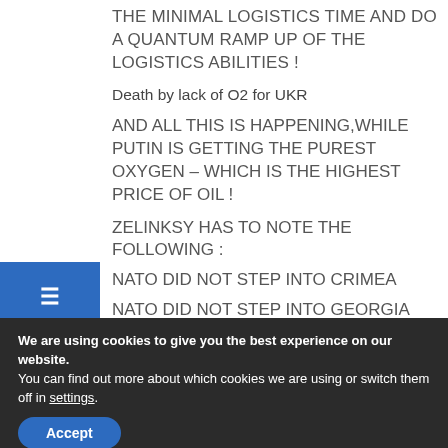THE MINIMAL LOGISTICS TIME AND DO A QUANTUM RAMP UP OF THE LOGISTICS ABILITIES !
Death by lack of O2 for UKR
AND ALL THIS IS HAPPENING,WHILE PUTIN IS GETTING THE PUREST OXYGEN – WHICH IS THE HIGHEST PRICE OF OIL !
ZELINKSY HAS TO NOTE THE FOLLOWING :
NATO DID NOT STEP INTO CRIMEA
NATO DID NOT STEP INTO GEORGIA
NATO WILL NOT STEP INTO UKRAINE
We are using cookies to give you the best experience on our website.
You can find out more about which cookies we are using or switch them off in settings.